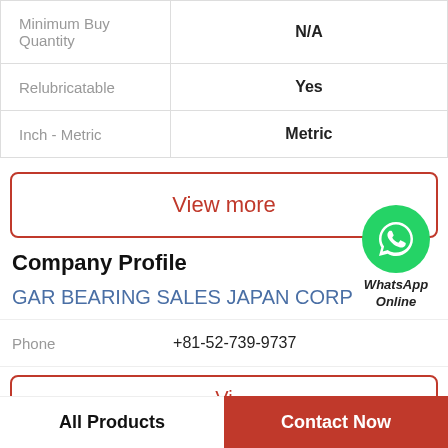| Minimum Buy Quantity | N/A |
| Relubricatable | Yes |
| Inch - Metric | Metric |
View more
[Figure (illustration): WhatsApp green circle icon with phone handset symbol, labeled 'WhatsApp Online']
Company Profile
GAR BEARING SALES JAPAN CORP
Phone  +81-52-739-9737
View more
All Products
Contact Now